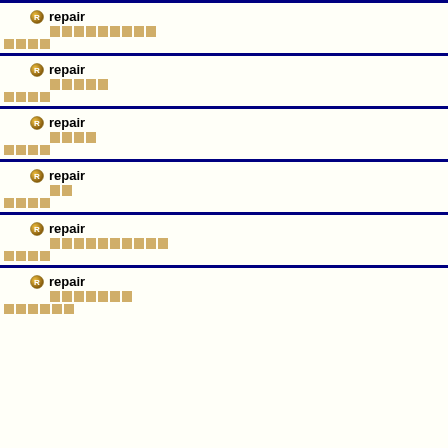repair
repair
repair
repair
repair
repair